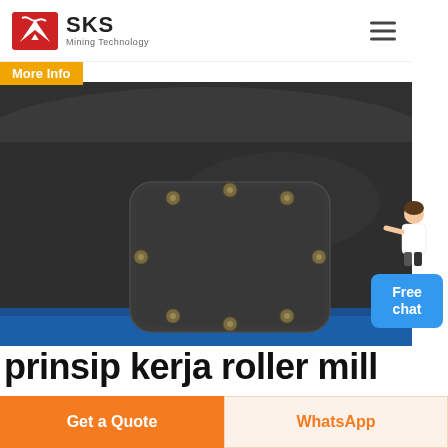SKS Mining Technology
More Info
[Figure (photo): Close-up photograph of a dark metallic industrial machine component (roller mill) showing a rounded-rectangular access panel or plate bolted with 8 bolts arranged around its perimeter, set against a dark curved surface. A blue metal base is partially visible at the bottom.]
Free chat
prinsip kerja roller mill
Get a Quote
WhatsApp